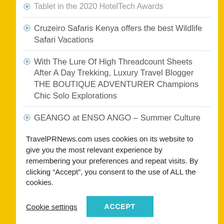Tablet in the 2020 HotelTech Awards
Cruzeiro Safaris Kenya offers the best Wildlife Safari Vacations
With The Lure Of High Threadcount Sheets After A Day Trekking, Luxury Travel Blogger THE BOUTIQUE ADVENTURER Champions Chic Solo Explorations
GEANGO at ENSO ANGO – Summer Culture Retreat in Kyoto 2019
UK Investors File Lawsuit in the Canaries Against Blue Explorers for Misleading Shareholders
TravelPRNews.com uses cookies on its website to give you the most relevant experience by remembering your preferences and repeat visits. By clicking “Accept”, you consent to the use of ALL the cookies.
Cookie settings
ACCEPT